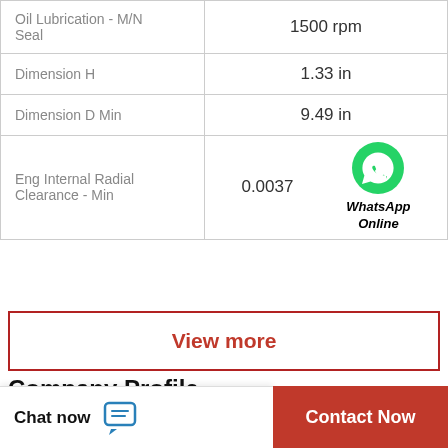| Property | Value |
| --- | --- |
| Oil Lubrication - M/N Seal | 1500 rpm |
| Dimension H | 1.33 in |
| Dimension D Min | 9.49 in |
| Eng Internal Radial Clearance - Min | 0.0037 |
[Figure (logo): WhatsApp green phone icon with 'WhatsApp Online' label in bold italic]
View more
Company Profile
China Rexroth a10v Hydraulic Pump Supplier
Chat now
Contact Now